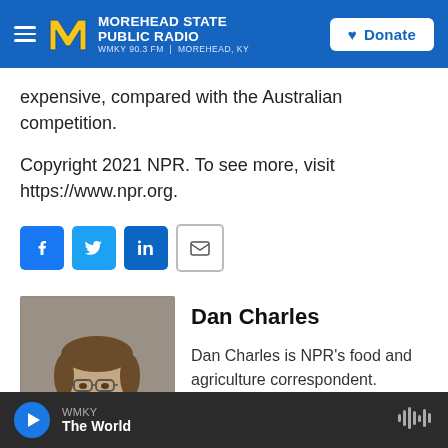Morehead State Public Radio — WMKY 90.3 FM | Morehead, KY — Donate
expensive, compared with the Australian competition.
Copyright 2021 NPR. To see more, visit https://www.npr.org.
[Figure (other): Social sharing icons: Facebook, Twitter, LinkedIn, Email]
[Figure (photo): Portrait photo of Dan Charles]
Dan Charles
Dan Charles is NPR's food and agriculture correspondent.
WMKY — The World (audio player bar)